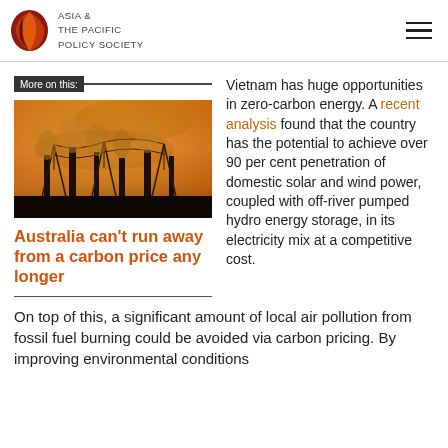ASIA & THE PACIFIC POLICY SOCIETY
More on this:
[Figure (photo): Industrial smokestacks emitting smoke against an orange hazy sky with power line towers]
Australia can’t run away from a carbon price any longer
Vietnam has huge opportunities in zero-carbon energy. A recent analysis found that the country has the potential to achieve over 90 per cent penetration of domestic solar and wind power, coupled with off-river pumped hydro energy storage, in its electricity mix at a competitive cost.
On top of this, a significant amount of local air pollution from fossil fuel burning could be avoided via carbon pricing. By improving environmental conditions